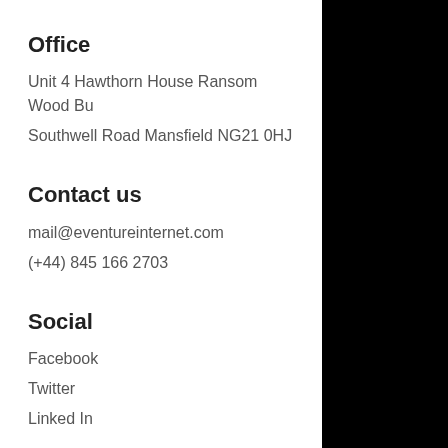Office
Unit 4 Hawthorn House Ransom Wood Bu
Southwell Road Mansfield NG21 0HJ
Contact us
mail@eventureinternet.com
(+44) 845 166 2703
Social
Facebook
Twitter
Linked In